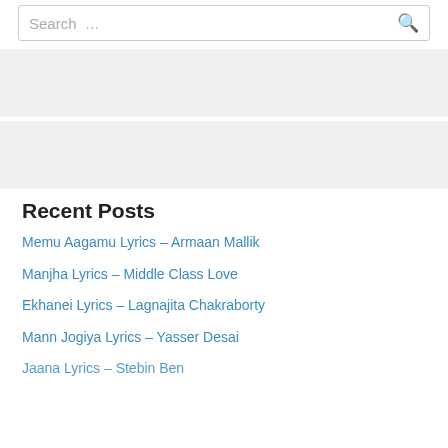Search …
Recent Posts
Memu Aagamu Lyrics – Armaan Mallik
Manjha Lyrics – Middle Class Love
Ekhanei Lyrics – Lagnajita Chakraborty
Mann Jogiya Lyrics – Yasser Desai
Jaana Lyrics – Stebin Ben